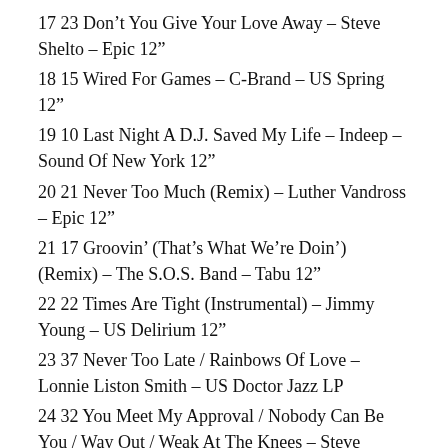17 23 Don't You Give Your Love Away – Steve Shelto – Epic 12"
18 15 Wired For Games – C-Brand – US Spring 12"
19 10 Last Night A D.J. Saved My Life – Indeep – Sound Of New York 12"
20 21 Never Too Much (Remix) – Luther Vandross – Epic 12"
21 17 Groovin' (That's What We're Doin') (Remix) – The S.O.S. Band – Tabu 12"
22 22 Times Are Tight (Instrumental) – Jimmy Young – US Delirium 12"
23 37 Never Too Late / Rainbows Of Love – Lonnie Liston Smith – US Doctor Jazz LP
24 32 You Meet My Approval / Nobody Can Be You / Way Out / Weak At The Knees – Steve